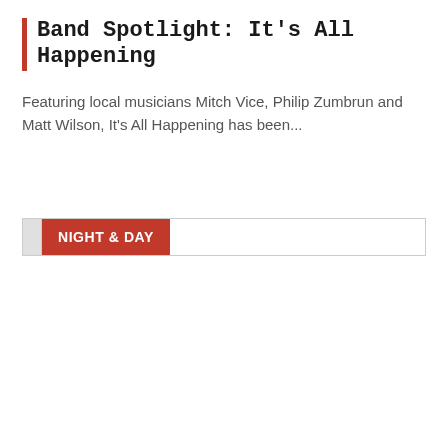Band Spotlight: It's All Happening
Featuring local musicians Mitch Vice, Philip Zumbrun and Matt Wilson, It's All Happening has been...
NIGHT & DAY